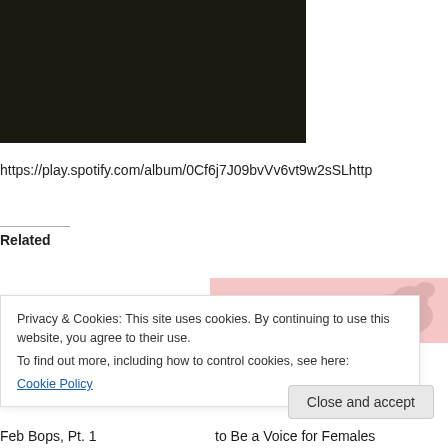[Figure (photo): Dark near-black image, cropped at top of page, approximately 306x143px]
https://play.spotify.com/album/0Cf6j7J09bvVv6vt9w2sSLhttp
Related
[Figure (illustration): Pink background with partial animal illustration visible in upper right]
Privacy & Cookies: This site uses cookies. By continuing to use this website, you agree to their use.
To find out more, including how to control cookies, see here:
Cookie Policy
Close and accept
Feb Bops, Pt. 1
to Be a Voice for Females